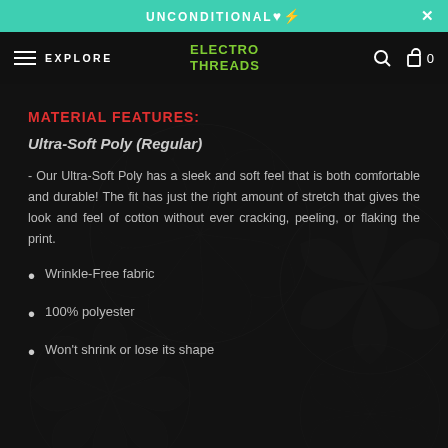UNCONDITIONAL ♥⚡   ✕
☰  EXPLORE   ELECTRO THREADS   🔍  🛒 0
[Figure (illustration): Dark background with intricate mandala/floral patterns in dark grey tones]
MATERIAL FEATURES:
Ultra-Soft Poly (Regular)
- Our Ultra-Soft Poly has a sleek and soft feel that is both comfortable and durable! The fit has just the right amount of stretch that gives the look and feel of cotton without ever cracking, peeling, or flaking the print.
Wrinkle-Free fabric
100% polyester
Won't shrink or lose its shape